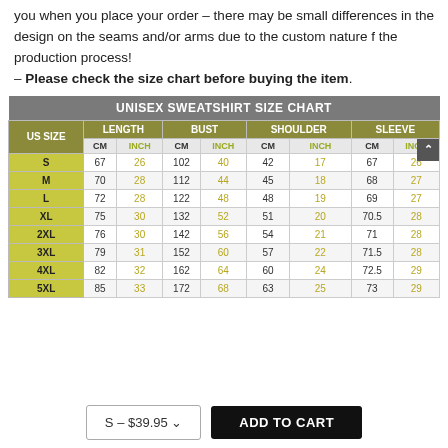Each sweatshirt is custom printed, cut and sewn just for you when you place your order – there may be small differences in the design on the seams and/or arms due to the custom nature f the production process!
– Please check the size chart before buying the item.
| US SIZE | LENGTH CM | LENGTH INCH | BUST CM | BUST INCH | SHOULDER CM | SHOULDER INCH | SLEEVE CM | SLEEVE INCH |
| --- | --- | --- | --- | --- | --- | --- | --- | --- |
| S | 67 | 26 | 102 | 40 | 42 | 17 | 67 | 26 |
| M | 70 | 28 | 112 | 44 | 45 | 18 | 68 | 27 |
| L | 72 | 28 | 122 | 48 | 48 | 19 | 69 | 27 |
| XL | 75 | 30 | 132 | 52 | 51 | 20 | 70.5 | 28 |
| 2XL | 76 | 30 | 142 | 56 | 54 | 21 | 71 | 28 |
| 3XL | 79 | 31 | 152 | 60 | 57 | 22 | 71.5 | 28 |
| 4XL | 82 | 32 | 162 | 64 | 60 | 24 | 72.5 | 29 |
| 5XL | 85 | 33 | 172 | 68 | 63 | 25 | 73 | 29 |
S – $39.95
ADD TO CART